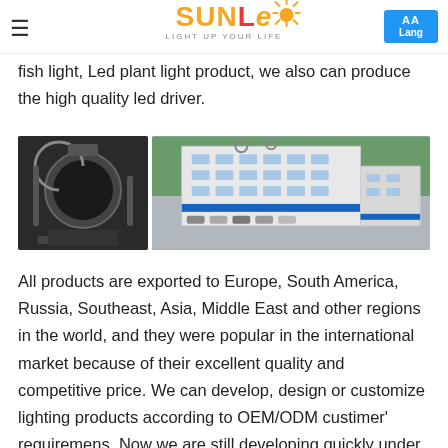SUNLE LIGHT UP YOUR LIFE — Lang
fish light, Led plant light product, we also can produce the high quality led driver.
[Figure (photo): Two photos side by side: left photo shows industrial testing equipment (integrating sphere), right photo shows an aerial view of a multi-story factory building with parking lot and surrounding greenery.]
All products are exported to Europe, South America, Russia, Southeast, Asia, Middle East and other regions in the world, and they were popular in the international market because of their excellent quality and competitive price. We can develop, design or customize lighting products according to OEM/ODM custimer' requiremens. Now we are still developing quickly under our own understanding of lighting.